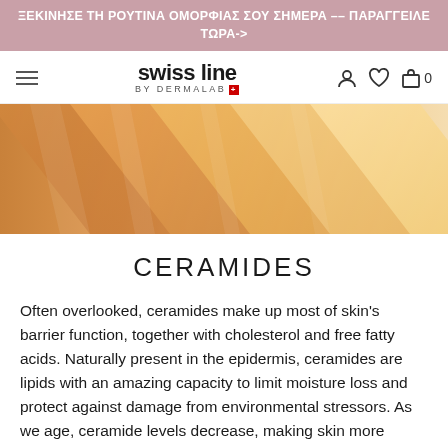ΞΕΚΙΝΗΣΕ ΤΗ ΡΟΥΤΙΝΑ ΟΜΟΡΦΙΑΣ ΣΟΥ ΣΗΜΕΡΑ –– ΠΑΡΑΓΓΕΙΛΕ ΤΩΡΑ->
[Figure (screenshot): Swiss line by Dermalab navigation bar with hamburger menu, logo, and icons for account, wishlist, and cart (0)]
[Figure (photo): Close-up of golden/orange cream or foundation swatches on a surface, showing diagonal streaks of color ranging from warm orange to light beige]
CERAMIDES
Often overlooked, ceramides make up most of skin's barrier function, together with cholesterol and free fatty acids. Naturally present in the epidermis, ceramides are lipids with an amazing capacity to limit moisture loss and protect against damage from environmental stressors. As we age, ceramide levels decrease, making skin more susceptible to dryness, redness, and more irritation.